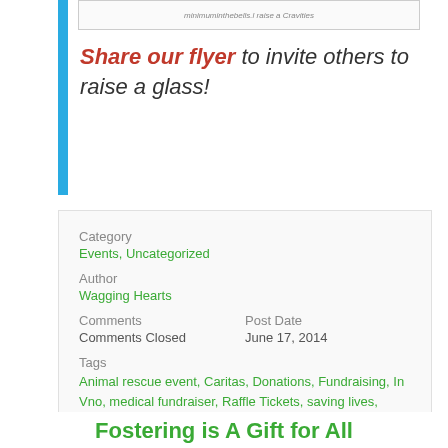[Figure (other): Small document/flyer image thumbnail at top]
Share our flyer to invite others to raise a glass!
Category
Events, Uncategorized
Author
Wagging Hearts
Comments
Comments Closed
Post Date
June 17, 2014
Tags
Animal rescue event, Caritas, Donations, Fundraising, In Vno, medical fundraiser, Raffle Tickets, saving lives, Wagging Hearts, Wagging Hearts Community, Wagging Hearts Event, Wagging Hearts Medical Funds, Wagging Hearts Rescue
Fostering is A Gift for All